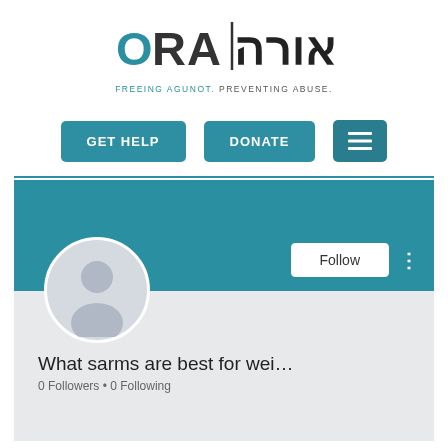[Figure (logo): ORA logo with Hebrew letters and tagline: FREEING AGUNOT. PREVENTING ABUSE.]
[Figure (screenshot): Navigation bar with GET HELP and DONATE teal buttons, and hamburger menu button]
[Figure (screenshot): Social media profile card with teal banner, default avatar, Follow button, name 'What sarms are best for wei...', 0 Followers • 0 Following]